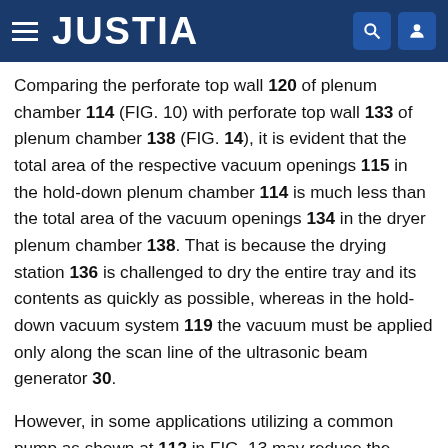JUSTIA
Comparing the perforate top wall 120 of plenum chamber 114 (FIG. 10) with perforate top wall 133 of plenum chamber 138 (FIG. 14), it is evident that the total area of the respective vacuum openings 115 in the hold-down plenum chamber 114 is much less than the total area of the vacuum openings 134 in the dryer plenum chamber 138. That is because the drying station 136 is challenged to dry the entire tray and its contents as quickly as possible, whereas in the hold-down vacuum system 119 the vacuum must be applied only along the scan line of the ultrasonic beam generator 30.
However, in some applications utilizing a common pump as shown at 112 in FIG. 13 may reduce the efficiency of the hold-down vacuum system. The pump will be drawing against the lower pneumatic resistance presented by the dryer plenum chamber and, unless a